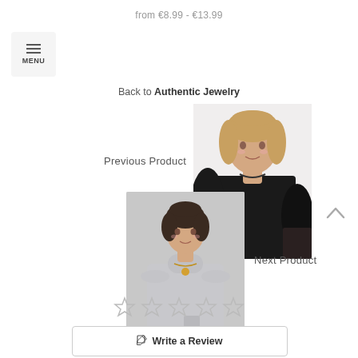from €8.99 - €13.99
[Figure (screenshot): Menu button with hamburger icon and MENU label on light grey background]
Back to Authentic Jewelry
Previous Product
[Figure (photo): Woman in black off-shoulder top wearing necklace, smiling]
Next Product
[Figure (photo): Woman in grey turtleneck dress with gold necklace pendant, grey background]
[Figure (other): Scroll to top chevron arrow icon]
[Figure (other): Five empty star rating icons]
Write a Review